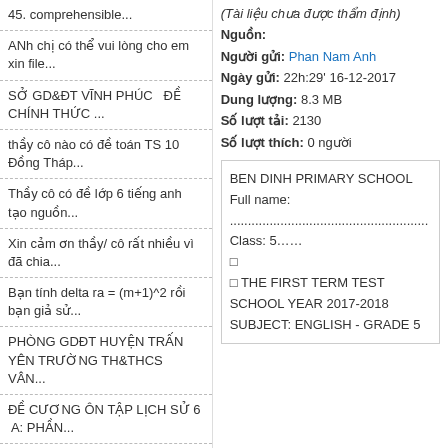45. comprehensible...
ANh chị có thể vui lòng cho em xin file...
SỞ GD&ĐT VĨNH PHÚC   ĐỀ CHÍNH THỨC ...
thầy cô nào có đề toán TS 10 Đồng Tháp...
Thầy cô có đề lớp 6 tiếng anh tạo nguồn...
Xin cảm ơn thầy/ cô rất nhiều vì đã chia...
Bạn tính delta ra = (m+1)^2 rồi bạn giả sử...
PHÒNG GDĐT HUYỆN TRẤN YÊN TRƯỜNG TH&THCS VÂN...
ĐỀ CƯƠNG ÔN TẬP LỊCH SỬ 6  A: PHẦN...
Đề thi tố sửa chuẩn theo ma trận hết rồi...
Chào cô, cô có thể cho mình xin file nghe...
(Tài liệu chưa được thẩm định)
Nguồn:
Người gửi: Phan Nam Anh
Ngày gửi: 22h:29' 16-12-2017
Dung lượng: 8.3 MB
Số lượt tải: 2130
Số lượt thích: 0 người
[Figure (screenshot): Preview box showing BEN DINH PRIMARY SCHOOL exam header with Full name, Class fields and title THE FIRST TERM TEST SCHOOL YEAR 2017-2018 SUBJECT: ENGLISH - GRADE 5]